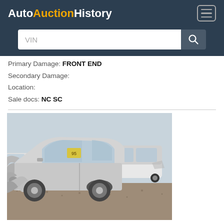AutoAuctionHistory
Primary Damage: FRONT END
Secondary Damage:
Location:
Sale docs: NC SC
[Figure (photo): Damaged silver sedan (front-end collision damage) in an auction yard, with other vehicles visible in the background. Front end is heavily crumpled and crushed.]